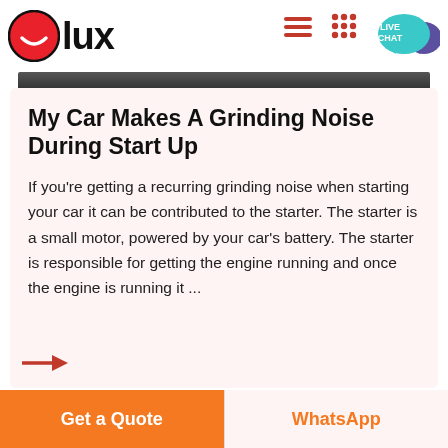[Figure (logo): Olux logo — red circle with white smiley face, followed by bold text 'lux']
[Figure (illustration): Hamburger menu icon (three red horizontal lines) and a 3x3 dot grid icon on the right side of the header, plus a teal 'LIVE CHAT' speech bubble with a purple chat icon]
[Figure (photo): Dark image strip at top of article card]
My Car Makes A Grinding Noise During Start Up
If you're getting a recurring grinding noise when starting your car it can be contributed to the starter. The starter is a small motor, powered by your car's battery. The starter is responsible for getting the engine running and once the engine is running it ...
[Figure (illustration): Red right-pointing arrow]
Get a Quote
WhatsApp